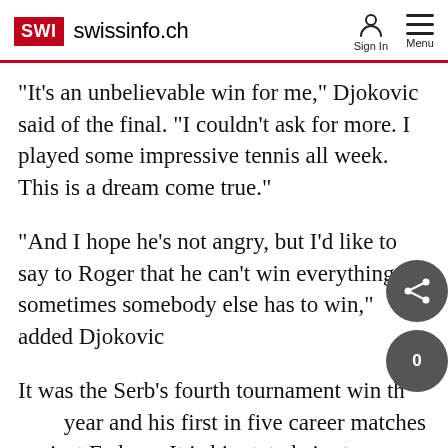SWI swissinfo.ch
"It's an unbelievable win for me," Djokovic said of the final. "I couldn't ask for more. I played some impressive tennis all week. This is a dream come true."
"And I hope he's not angry, but I'd like to say to Roger that he can't win everything, sometimes somebody else has to win," added Djokovic
It was the Serb's fourth tournament win th year and his first in five career matches against Federer. It is his stated aim to challenge Federer for his number one crown.